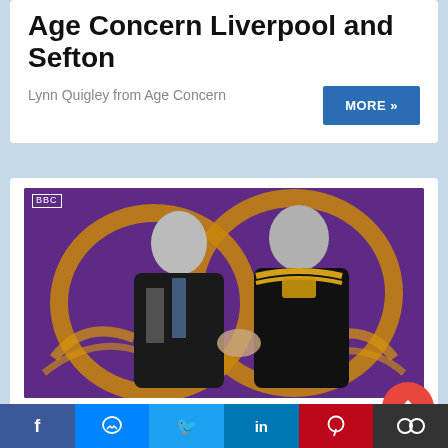Age Concern Liverpool and Sefton
Lynn Quigley from Age Concern
[Figure (other): MORE button linking to more content]
[Figure (photo): Two men in suits shaking hands in front of a purple BBC background with golden decorative wings/hearts. One man wears a chain of office. BBC watermark visible top left.]
Jonny Lea - Olympian Dentist